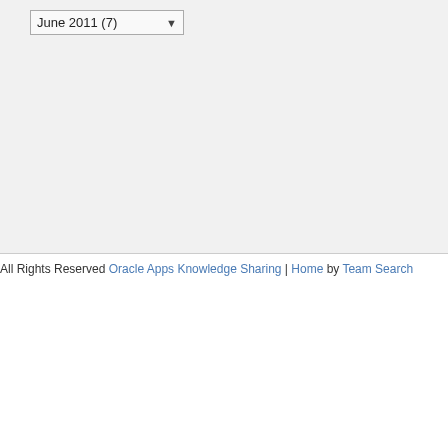June 2011 (7)
All Rights Reserved Oracle Apps Knowledge Sharing | Home by Team Search